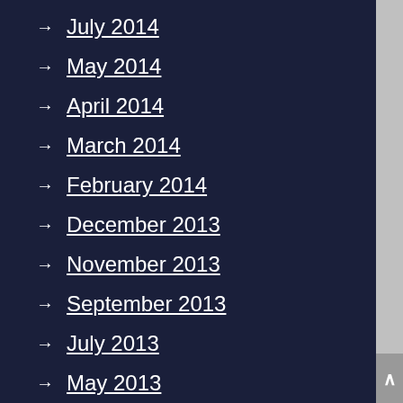→ July 2014
→ May 2014
→ April 2014
→ March 2014
→ February 2014
→ December 2013
→ November 2013
→ September 2013
→ July 2013
→ May 2013
→ April 2013
→ March 2013
→ February 2013